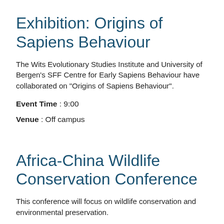Exhibition: Origins of Sapiens Behaviour
The Wits Evolutionary Studies Institute and University of Bergen's SFF Centre for Early Sapiens Behaviour have collaborated on "Origins of Sapiens Behaviour".
Event Time : 9:00
Venue : Off campus
Africa-China Wildlife Conservation Conference
This conference will focus on wildlife conservation and environmental preservation.
Event Time : 14:00
Venue : Roger Sauerman Centre, East...